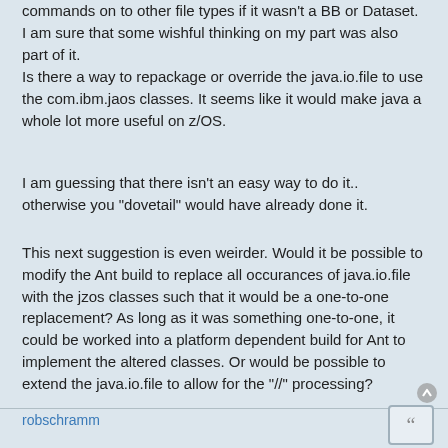commands on to other file types if it wasn't a BB or Dataset. I am sure that some wishful thinking on my part was also part of it.
Is there a way to repackage or override the java.io.file to use the com.ibm.jaos classes. It seems like it would make java a whole lot more useful on z/OS.
I am guessing that there isn't an easy way to do it.. otherwise you "dovetail" would have already done it.
This next suggestion is even weirder. Would it be possible to modify the Ant build to replace all occurances of java.io.file with the jzos classes such that it would be a one-to-one replacement? As long as it was something one-to-one, it could be worked into a platform dependent build for Ant to implement the altered classes. Or would be possible to extend the java.io.file to allow for the "//" processing?
robschramm
Re: Apache Ant in Batch
Fri Feb 07, 2014 10:46 am
After doing some additional reading.. it looks like I might be better off trying to extend existing Ant class(es). I will ask some questions on the ant